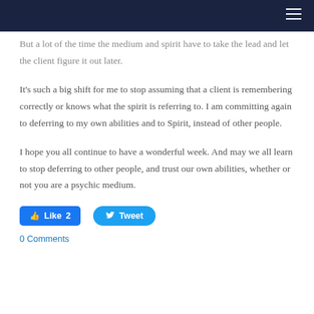But a lot of the time the medium and spirit have to take the lead and let the client figure it out later.
It's such a big shift for me to stop assuming that a client is remembering correctly or knows what the spirit is referring to. I am committing again to deferring to my own abilities and to Spirit, instead of other people.
I hope you all continue to have a wonderful week. And may we all learn to stop deferring to other people, and trust our own abilities, whether or not you are a psychic medium.
Like 2   Tweet
0 Comments